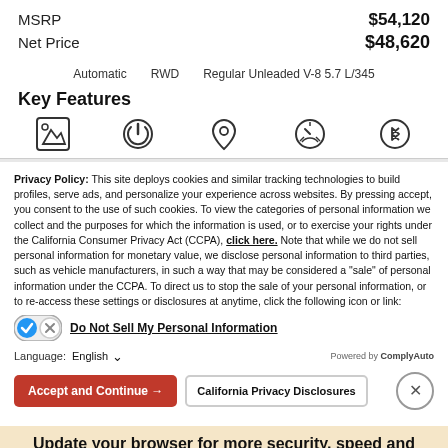MSRP $54,120
Net Price $48,620
Automatic   RWD   Regular Unleaded V-8 5.7 L/345
Key Features
Privacy Policy: This site deploys cookies and similar tracking technologies to build profiles, serve ads, and personalize your experience across websites. By pressing accept, you consent to the use of such cookies. To view the categories of personal information we collect and the purposes for which the information is used, or to exercise your rights under the California Consumer Privacy Act (CCPA), click here. Note that while we do not sell personal information for monetary value, we disclose personal information to third parties, such as vehicle manufacturers, in such a way that may be considered a "sale" of personal information under the CCPA. To direct us to stop the sale of your personal information, or to re-access these settings or disclosures at anytime, click the following icon or link:
Do Not Sell My Personal Information
Language: English
Powered by ComplyAuto
Accept and Continue →
California Privacy Disclosures
Update your browser for more security, speed and the best experience on this site.
Update browser   Ignore